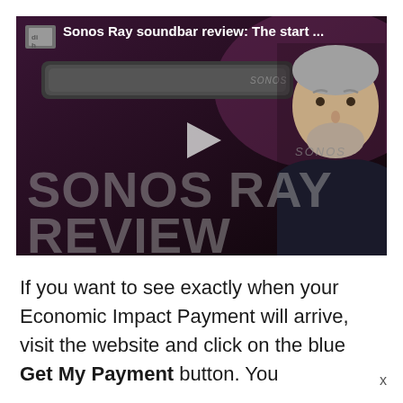[Figure (screenshot): Video thumbnail for 'Sonos Ray soundbar review: The start ...' showing a soundbar product, a man with gray beard, a play button, and large text overlay reading 'SONOS RAY REVIEW' on a dark purple background.]
If you want to see exactly when your Economic Impact Payment will arrive, visit the website and click on the blue Get My Payment button. You